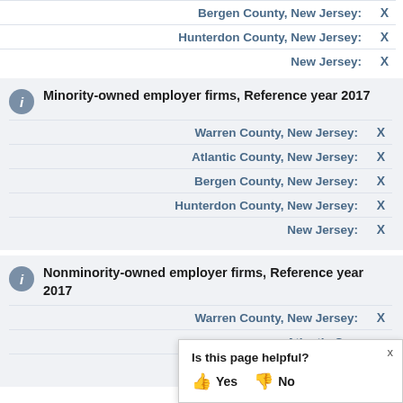Bergen County, New Jersey: X
Hunterdon County, New Jersey: X
New Jersey: X
Minority-owned employer firms, Reference year 2017
Warren County, New Jersey: X
Atlantic County, New Jersey: X
Bergen County, New Jersey: X
Hunterdon County, New Jersey: X
New Jersey: X
Nonminority-owned employer firms, Reference year 2017
Warren County, New Jersey: X
Atlantic County, New Jersey: X
Bergen County, New Jersey: X